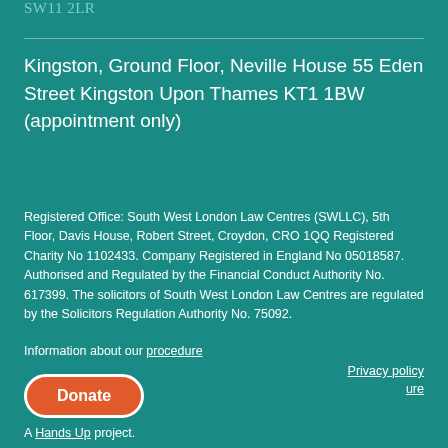SW11 2LR
Kingston, Ground Floor, Neville House 55 Eden Street Kingston Upon Thames KT1 1BW (appointment only)
Registered Office: South West London Law Centres (SWLLC), 5th Floor, Davis House, Robert Street, Croydon, CRO 1QQ Registered Charity No 1102433. Company Registered in England No 05018587. Authorised and Regulated by the Financial Conduct Authority No. 617399. The solicitors of South West London Law Centres are regulated by the Solicitors Regulation Authority No. 75092.
Information about our procedure
Privacy policy
Donate
A Hands Up project.